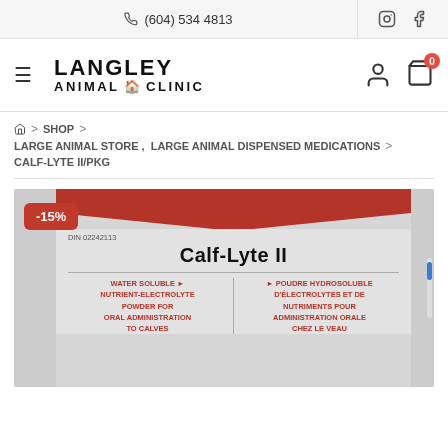(604) 534 4813
[Figure (logo): Langley Animal Clinic logo with hamburger menu icon, user icon, and shopping cart with badge showing 0]
⌂ > SHOP > LARGE ANIMAL STORE , LARGE ANIMAL DISPENSED MEDICATIONS > CALF-LYTE II/PKG
[Figure (photo): Product photo of Calf-Lyte II packet with -15% discount badge. The packet shows: DIN 02242113, Calf-Lyte II, WATER SOLUBLE NUTRIENT-ELECTROLYTE POWDER FOR ORAL ADMINISTRATION TO CALVES / POUDRE HYDROSOLUBLE D'ÉLECTROLYTES ET DE NUTRIMENTS POUR ADMINISTRATION ORALE CHEZ LE VEAU]